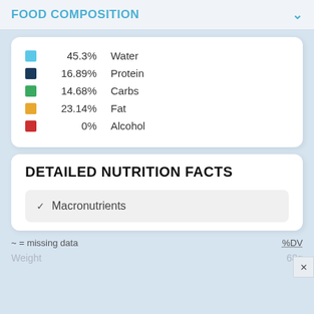FOOD COMPOSITION
[Figure (infographic): Food composition legend showing colored swatches with percentages: Water 45.3% (light blue), Protein 16.89% (dark blue), Carbs 14.68% (green), Fat 23.14% (yellow/orange), Alcohol 0% (red)]
DETAILED NUTRITION FACTS
✓ Macronutrients
~ = missing data   %DV
Weight   68g